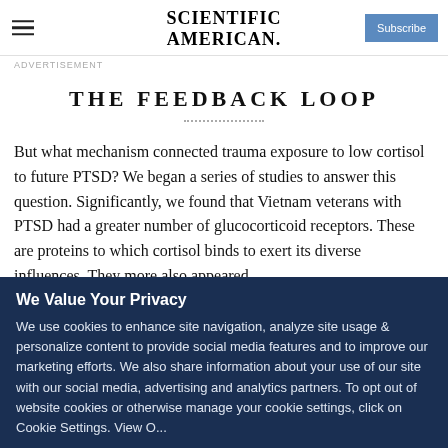SCIENTIFIC AMERICAN
ADVERTISEMENT
THE FEEDBACK LOOP
But what mechanism connected trauma exposure to low cortisol to future PTSD? We began a series of studies to answer this question. Significantly, we found that Vietnam veterans with PTSD had a greater number of glucocorticoid receptors. These are proteins to which cortisol binds to exert its diverse influences. They more also appeared...
We Value Your Privacy
We use cookies to enhance site navigation, analyze site usage & personalize content to provide social media features and to improve our marketing efforts. We also share information about your use of our site with our social media, advertising and analytics partners. To opt out of website cookies or otherwise manage your cookie settings, click on Cookie Settings. View O...